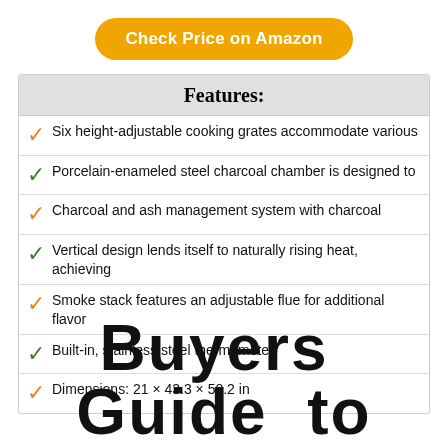Check Price on Amazon
Features:
Six height-adjustable cooking grates accommodate various
Porcelain-enameled steel charcoal chamber is designed to
Charcoal and ash management system with charcoal
Vertical design lends itself to naturally rising heat, achieving
Smoke stack features an adjustable flue for additional flavor
Built-in, stainless steel thermometer.
Dimensions: 21 × 43.3 × 50.2 in
Buyers  Guide  to